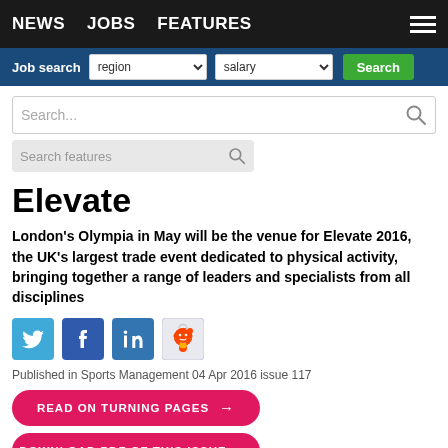NEWS   JOBS   FEATURES
Job search   region   salary   Search
Search...
Search features
Elevate
London's Olympia in May will be the venue for Elevate 2016, the UK's largest trade event dedicated to physical activity, bringing together a range of leaders and specialists from all disciplines
[Figure (infographic): Social sharing icons: Twitter (blue), Facebook (dark blue), LinkedIn (blue), Reddit (light grey with alien mascot)]
Published in Sports Management 04 Apr 2016 issue 117
READ ON TURNING PAGES →
DOWNLOAD PDF OF THIS ISSUE →